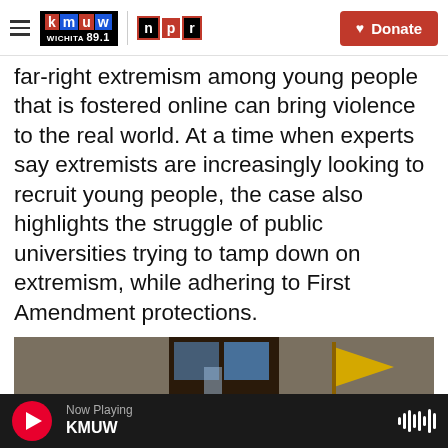KMUW Wichita 89.1 | NPR | Donate
far-right extremism among young people that is fostered online can bring violence to the real world. At a time when experts say extremists are increasingly looking to recruit young people, the case also highlights the struggle of public universities trying to tamp down on extremism, while adhering to First Amendment protections.
[Figure (photo): Crowd of people pushing against doors, with a yellow flag visible; appears to be a scene from the January 6 Capitol riot]
Now Playing KMUW